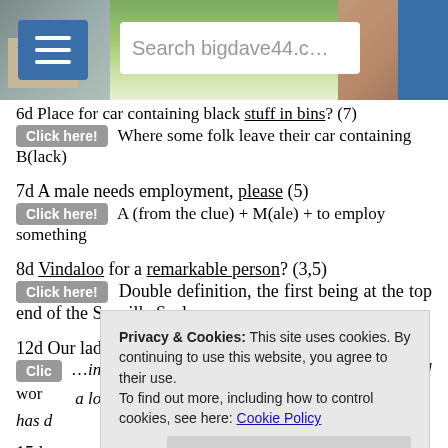[Figure (screenshot): Website header banner with hamburger menu icon, landscape photo background, and search box reading 'Search bigdave44.c']
6d Place for car containing black stuff in bins? (7)
Click here! Where some folk leave their car containing B(lack)
7d A male needs employment, please (5)
Click here! A (from the clue) + M(ale) + to employ something
8d Vindaloo for a remarkable person? (3,5)
Click here! Double definition, the first being at the top end of the Scoville Scale
12d Our lad's role could be making money (4,7)
Clid [initial word] ...a lot has d...
15d [much mon] [Clic] (id) a word describing the action of a twister, in particular twisting that interrupts the blood supply to an organ,
Privacy & Cookies: This site uses cookies. By continuing to use this website, you agree to their use. To find out more, including how to control cookies, see here: Cookie Policy
Close and accept